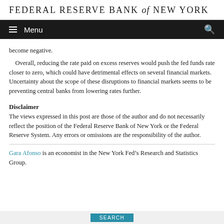FEDERAL RESERVE BANK of NEW YORK
Menu
become negative.
Overall, reducing the rate paid on excess reserves would push the fed funds rate closer to zero, which could have detrimental effects on several financial markets. Uncertainty about the scope of these disruptions to financial markets seems to be preventing central banks from lowering rates further.
Disclaimer
The views expressed in this post are those of the author and do not necessarily reflect the position of the Federal Reserve Bank of New York or the Federal Reserve System. Any errors or omissions are the responsibility of the author.
Gara Afonso is an economist in the New York Fed’s Research and Statistics Group.